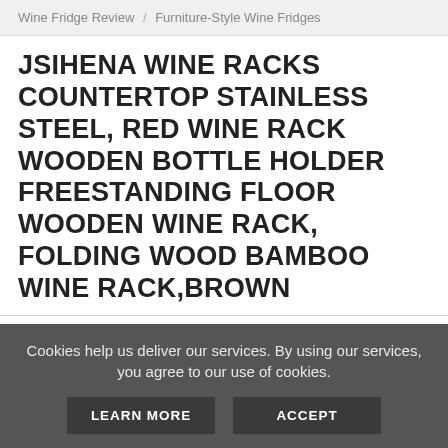Wine Fridge Review / Furniture-Style Wine Fridges
JSIHENA WINE RACKS COUNTERTOP STAINLESS STEEL, RED WINE RACK WOODEN BOTTLE HOLDER FREESTANDING FLOOR WOODEN WINE RACK, FOLDING WOOD BAMBOO WINE RACK,BROWN
[Figure (photo): Product photo of a brown bamboo/wooden wine rack with a gold/brass accent element visible at the bottom, partially shown.]
Cookies help us deliver our services. By using our services, you agree to our use of cookies.
LEARN MORE   ACCEPT